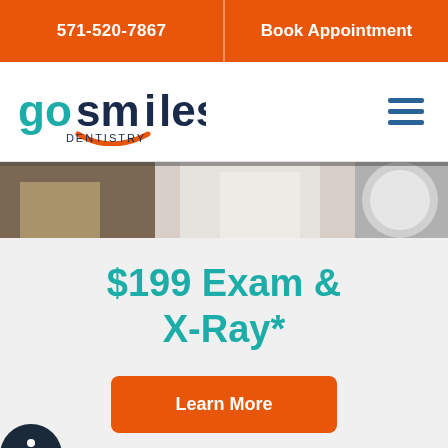571-520-7867 | Book Appointment
[Figure (logo): GoSmiles Dentistry logo with orange smile arc and teal/dark blue text]
[Figure (photo): Dental office photo showing dentist working with patient]
$199 Exam & X-Ray*
Learn More